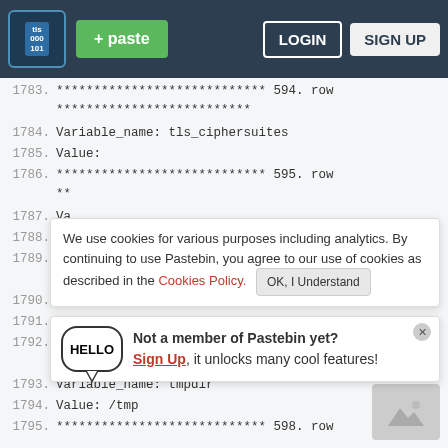[Figure (screenshot): Pastebin website header with logo, + paste button, LOGIN and SIGN UP buttons on dark navy background]
1783.  **************************** 594. row
       **************************
1784.  Variable_name: tls_ciphersuites
1785.       Value:
1786.  **************************** 595. row
       **
1787.  Va
1788.
1789.  **
       **************************
1790.  Va
1791.
1792.  **---------------------------- 597. row
       **************************
1793.  Variable_name: tmpdir
1794.       Value: /tmp
1795.  **************************** 598. row
We use cookies for various purposes including analytics. By continuing to use Pastebin, you agree to our use of cookies as described in the Cookies Policy. OK, I Understand
Not a member of Pastebin yet? Sign Up, it unlocks many cool features!